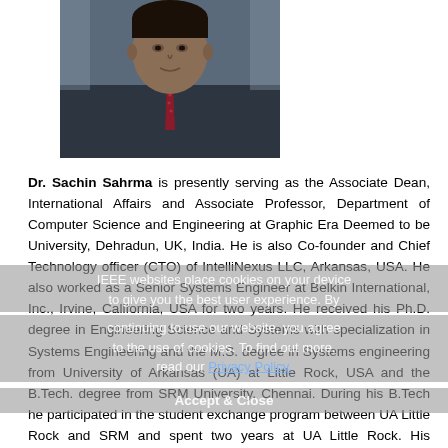[Figure (photo): Headshot photo of Dr. Sachin Sahrma wearing a suit and tie]
Dr. Sachin Sahrma is presently serving as the Associate Dean, International Affairs and Associate Professor, Department of Computer Science and Engineering at Graphic Era Deemed to be University, Dehradun, UK, India. He is also Co-founder and Chief Technology officer (CTO) of IntelliNexus LLC, Arkansas, USA. He also worked as a Senior Systems Engineer at Belkin International, Inc., Irvine, California, USA for two years. He received his Ph.D. degree in Engineering Science and Systems with specialization in Systems Engineering and the M.S. degree in Systems engineering from University of Arkansas (UA) at Little Rock, USA and the B.Tech. degree from SRM University, Chennai. During his B.Tech he participated in the student exchange program between UA Little Rock and SRM and spent two years at UA Little Rock. His research interests include wireless communication